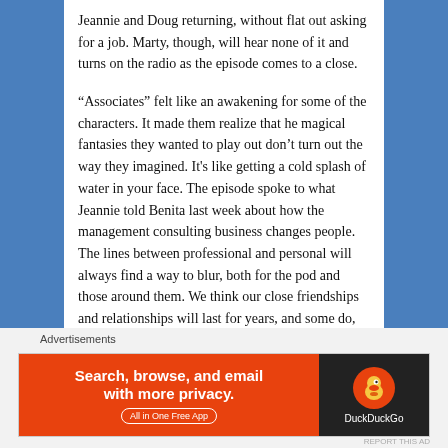Jeannie and Doug returning, without flat out asking for a job.  Marty, though, will hear none of it and turns on the radio as the episode comes to a close.
“Associates” felt like an awakening for some of the characters.  It made them realize that he magical fantasies they wanted to play out don’t turn out the way they imagined.  It's like getting a cold splash of water in your face.  The episode spoke to what Jeannie told Benita last week about how the management consulting business changes people.  The lines between professional and personal will always find a way to blur, both for the pod and those around them.  We think our close friendships and relationships will last for years, and some do, but people inevitably grow apart.  And it will hurt when the truth settles in, but you can either give in or fight what seems inevitable.
Advertisements
[Figure (other): DuckDuckGo advertisement banner. Orange left section with text 'Search, browse, and email with more privacy. All in One Free App'. Dark right section with DuckDuckGo logo and duck icon.]